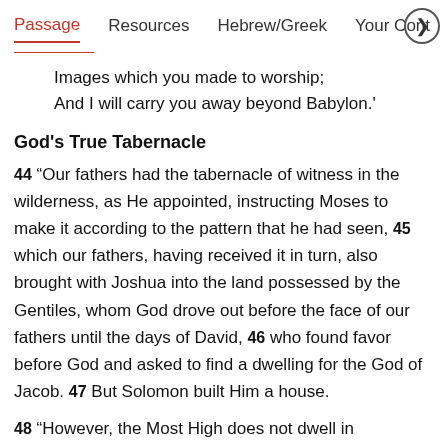Passage   Resources   Hebrew/Greek   Your Cont  >
Images which you made to worship;
And I will carry you away beyond Babylon.'
God's True Tabernacle
44 “Our fathers had the tabernacle of witness in the wilderness, as He appointed, instructing Moses to make it according to the pattern that he had seen, 45 which our fathers, having received it in turn, also brought with Joshua into the land possessed by the Gentiles, whom God drove out before the face of our fathers until the days of David, 46 who found favor before God and asked to find a dwelling for the God of Jacob. 47 But Solomon built Him a house.
48 “However, the Most High does not dwell in